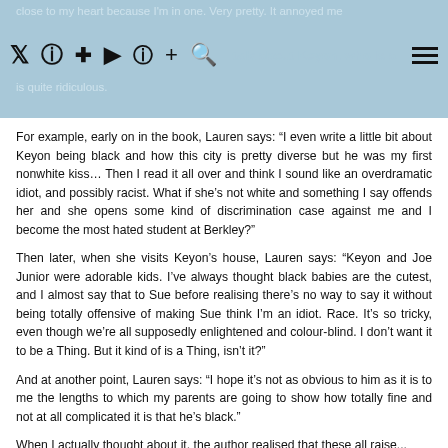close to my heart because I'm in one. Very pretty. It annoyed me because the way Elizabeth talk about Keyon, who is a is quite ridiculous.
For example, early on in the book, Lauren says: “I even write a little bit about Keyon being black and how this city is pretty diverse but he was my first nonwhite kiss… Then I read it all over and think I sound like an overdramatic idiot, and possibly racist. What if she’s not white and something I say offends her and she opens some kind of discrimination case against me and I become the most hated student at Berkley?”
Then later, when she visits Keyon’s house, Lauren says: “Keyon and Joe Junior were adorable kids. I’ve always thought black babies are the cutest, and I almost say that to Sue before realising there’s no way to say it without being totally offensive of making Sue think I’m an idiot. Race. It’s so tricky, even though we’re all supposedly enlightened and colour-blind. I don’t want it to be a Thing. But it kind of is a Thing, isn’t it?”
And at another point, Lauren says: “I hope it’s not as obvious to him as it is to me the lengths to which my parents are going to show how totally fine and not at all complicated it is that he’s black.”
When I actually thought about it, the author realised that these all raise...